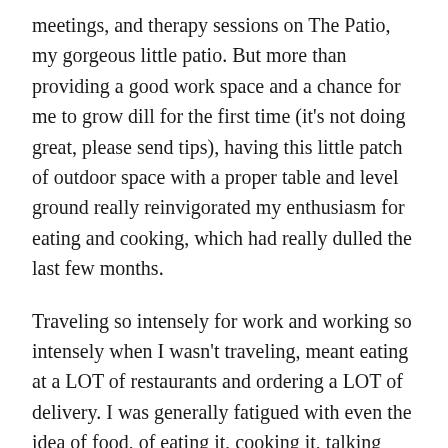meetings, and therapy sessions on The Patio, my gorgeous little patio. But more than providing a good work space and a chance for me to grow dill for the first time (it's not doing great, please send tips), having this little patch of outdoor space with a proper table and level ground really reinvigorated my enthusiasm for eating and cooking, which had really dulled the last few months.
Traveling so intensely for work and working so intensely when I wasn't traveling, meant eating at a LOT of restaurants and ordering a LOT of delivery. I was generally fatigued with even the idea of food, of eating it, cooking it, talking about it, or writing about it– These sorts of ruts hit at least once a year, usually followed by a heavy period of doing exactly all those things.